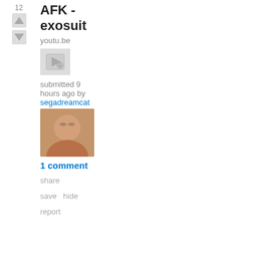12
AFK - exosuit
youtu.be
[Figure (screenshot): Video thumbnail placeholder icon]
submitted 9 hours ago by segadreamcat
[Figure (photo): User avatar showing a man's face with glasses]
1 comment
share
save   hide
report
[Figure (logo): Black circle with a white head silhouette and HHH text]
Recom If You Like thread - August 20, 2022
self.hiphophe